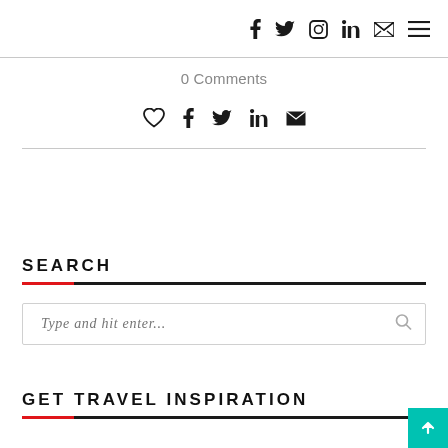Social/nav icons: f, twitter, instagram, in, email, menu
0 Comments
[Figure (infographic): Social sharing icons row: heart, facebook, twitter, linkedin, email]
SEARCH
Type and hit enter...
GET TRAVEL INSPIRATION